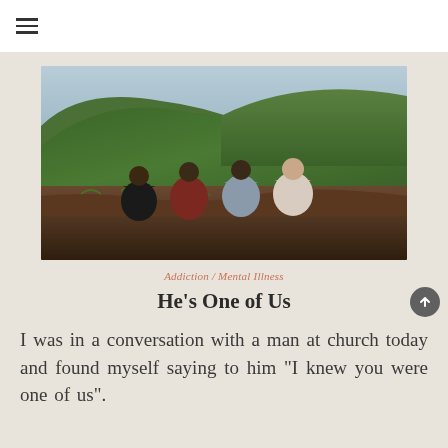≡
[Figure (photo): Four young men seen from behind, sitting on a hillside with green mountain landscape and blue sky in background]
Addiction / Mental Illness
He's One of Us
I was in a conversation with a man at church today and found myself saying to him "I knew you were one of us".